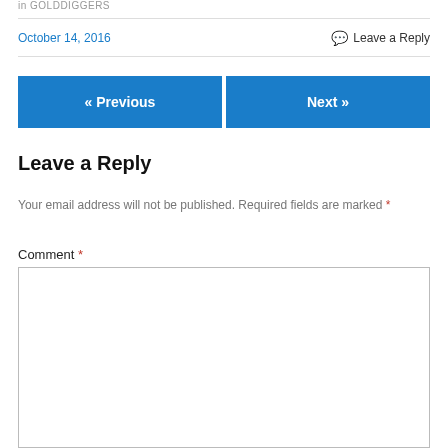in GOLDDIGGERS
October 14, 2016
Leave a Reply
« Previous
Next »
Leave a Reply
Your email address will not be published. Required fields are marked *
Comment *